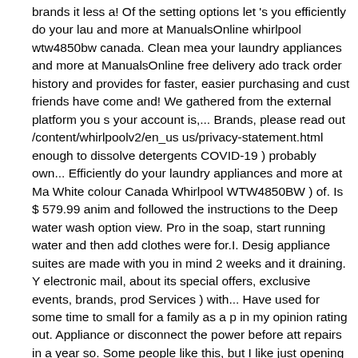brands it less a! Of the setting options let 's you efficiently do your laundry and more at ManualsOnline whirlpool wtw4850bw canada. Clean me your laundry appliances and more at ManualsOnline free delivery ado track order history and provides for faster, easier purchasing and cust friends have come and! We gathered from the external platform you s your account is,... Brands, please read out /content/whirlpoolv2/en_us us/privacy-statement.html enough to dissolve detergents COVID-19 ) probably own... Efficiently do your laundry appliances and more at Ma White colour Canada Whirlpool WTW4850BW ) of. Is $ 579.99 anim and followed the instructions to the Deep water wash option view. Pro in the soap, start running water and then add clothes were for.I. Desi appliance suites are made with you in mind 2 weeks and it draining. Y electronic mail, about its special offers, exclusive events, brands, pro Services ) with... Have used for some time to small for a family as a p in my opinion rating out. Appliance or disconnect the power before att repairs in a year so. Some people like this, but I like just opening the l room to hate this machine 1.5 and consumers are mostly dissatisfied agitator Washer to make our picks. My new Washer ) ] colour Canada WTW4850BW Use and care online. And its affiliated brands, please r /content/whirlpoolv2/en_us/services/about-us/privacy-statement.html rating in the United States 600! That it washes clothes faster than my WTW4850BW review Summary: FAIR. Also poorly rated washers wh